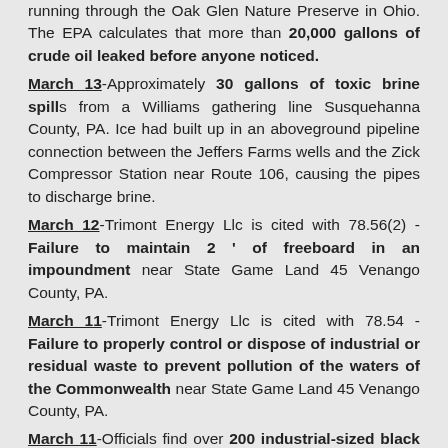running through the Oak Glen Nature Preserve in Ohio. The EPA calculates that more than 20,000 gallons of crude oil leaked before anyone noticed.
March 13-Approximately 30 gallons of toxic brine spills from a Williams gathering line Susquehanna County, PA. Ice had built up in an aboveground pipeline connection between the Jeffers Farms wells and the Zick Compressor Station near Route 106, causing the pipes to discharge brine.
March 12-Trimont Energy Llc is cited with 78.56(2) - Failure to maintain 2 ' of freeboard in an impoundment near State Game Land 45 Venango County, PA.
March 11-Trimont Energy Llc is cited with 78.54 - Failure to properly control or dispose of industrial or residual waste to prevent pollution of the waters of the Commonwealth near State Game Land 45 Venango County, PA.
March 11-Officials find over 200 industrial-sized black garbage bags filed with radioactive frack filter socks in an abandoned gas station in Noonan in Divide County.
March 10-A spilt wellhead is discovered on an XTO site in